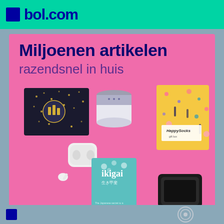[Figure (logo): bol.com logo with blue square and teal/mint green background header bar]
Miljoenen artikelen
razendsnel in huis
[Figure (photo): Various products on pink background: a black sparkly card/book, a portable bluetooth speaker, a yellow Happy Socks gift box, white AirPods case, AirPods earbuds, a teal ikigai book with Japanese characters, and a black smartwatch/device]
[Figure (logo): bol.com logo blue square at bottom left, partial circular logo at bottom right]